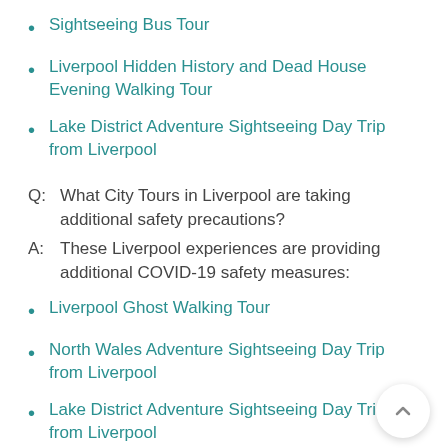Sightseeing Bus Tour
Liverpool Hidden History and Dead House Evening Walking Tour
Lake District Adventure Sightseeing Day Trip from Liverpool
Q: What City Tours in Liverpool are taking additional safety precautions?
A: These Liverpool experiences are providing additional COVID-19 safety measures:
Liverpool Ghost Walking Tour
North Wales Adventure Sightseeing Day Trip from Liverpool
Lake District Adventure Sightseeing Day Trip from Liverpool
The LFC Stadium Tour